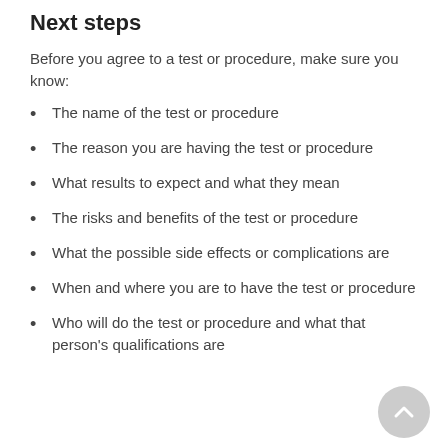Next steps
Before you agree to a test or procedure, make sure you know:
The name of the test or procedure
The reason you are having the test or procedure
What results to expect and what they mean
The risks and benefits of the test or procedure
What the possible side effects or complications are
When and where you are to have the test or procedure
Who will do the test or procedure and what that person's qualifications are